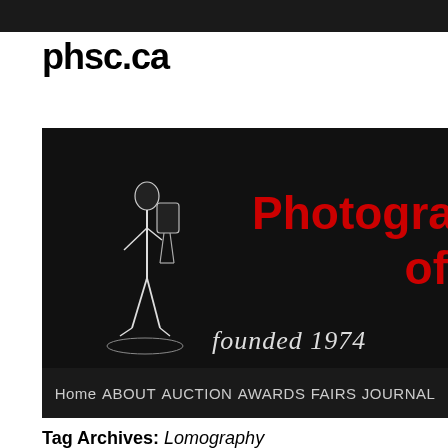phsc.ca
[Figure (screenshot): PHSC website banner on black background with a sketch of a photographer figure, red bold text reading 'Photographic of' (partially visible), handwritten-style text 'founded 1974', and navigation bar with links: Home, ABOUT, AUCTION, AWARDS, FAIRS, JOURNAL]
Tag Archives: Lomography